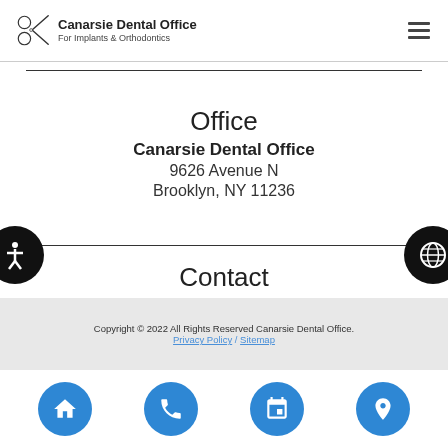Canarsie Dental Office — For Implants & Orthodontics
Office
Canarsie Dental Office
9626 Avenue N
Brooklyn, NY 11236
Contact
Phone: (718) 709-3885
Copyright © 2022 All Rights Reserved Canarsie Dental Office.
Privacy Policy / Sitemap